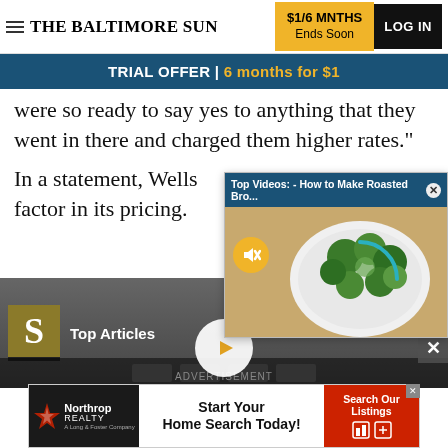THE BALTIMORE SUN | $1/6 MNTHS Ends Soon | LOG IN
TRIAL OFFER | 6 months for $1
were so ready to say yes to anything that they went in there and charged them higher rates."
In a statement, Wells [Fargo said race was not a] factor in its pricing.
[Figure (screenshot): Top Videos popup: How to Make Roasted Bro... showing a bowl of roasted broccoli with a loading spinner and mute button]
[Figure (screenshot): Top Articles widget with S logo and large video player area with play button]
ADVERTISEMENT
[Figure (screenshot): Northrop Realty advertisement: Start Your Home Search Today! with Search Our Listings button]